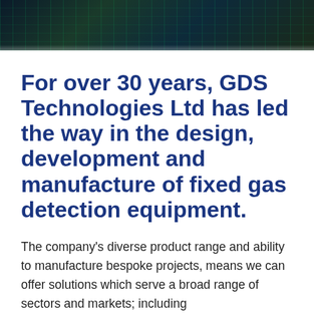[Figure (photo): Dark header image showing a city/technology grid background with green digital overlay, suggesting industrial or technology theme]
For over 30 years, GDS Technologies Ltd has led the way in the design, development and manufacture of fixed gas detection equipment.
The company's diverse product range and ability to manufacture bespoke projects, means we can offer solutions which serve a broad range of sectors and markets; including